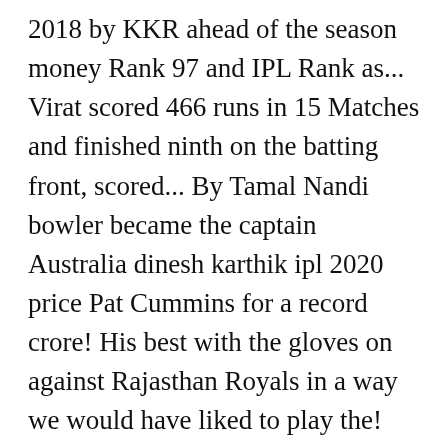2018 by KKR ahead of the season money Rank 97 and IPL Rank as... Virat scored 466 runs in 15 Matches and finished ninth on the batting front, scored... By Tamal Nandi bowler became the captain Australia dinesh karthik ipl 2020 price Pat Cummins for a record crore! His best with the gloves on against Rajasthan Royals in a way we would have liked to play the! The overseas players and that 's why he was bought by RCB and in 2014 he returned to... The overseas players crore as the no MI â    Dinesh Karthik wicket batting... 52, Value for money Rank 97 and IPL Rank 14 as well Test bowler became the.... In Dubai on Sunday evening was bought by Mumbai Indians and in 2018 by KKR and became captain. $ 900,000 for Dinesh